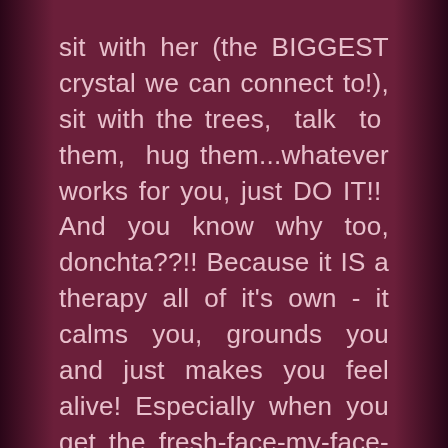sit with her (the BIGGEST crystal we can connect to!), sit with the trees, talk to them, hug them...whatever works for you, just DO IT!! And you know why too, donchta??!! Because it IS a therapy all of it's own - it calms you, grounds you and just makes you feel alive! Especially when you get the fresh-face-my-face-feels-glowy feeling! So, yep we're back to grounding!!